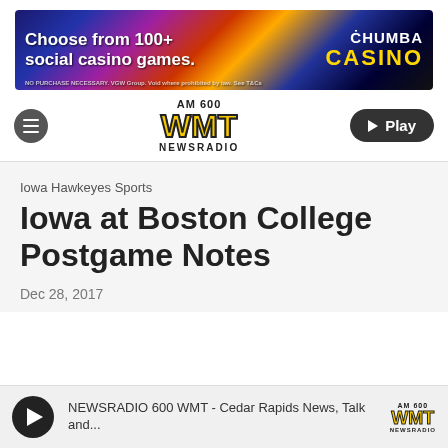[Figure (screenshot): Chumba Casino advertisement banner - 'Choose from 100+ social casino games.' with colorful casino game imagery and Chumba Casino logo]
[Figure (logo): AM 600 WMT Newsradio logo with yellow WMT letters and navigation bar including hamburger menu and Play button]
Iowa Hawkeyes Sports
Iowa at Boston College Postgame Notes
Dec 28, 2017
NEWSRADIO 600 WMT - Cedar Rapids News, Talk and...